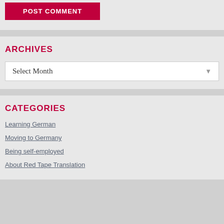POST COMMENT
ARCHIVES
Select Month
CATEGORIES
Learning German
Moving to Germany
Being self-employed
About Red Tape Translation